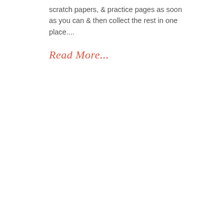scratch papers, & practice pages as soon as you can & then collect the rest in one place....
Read More...